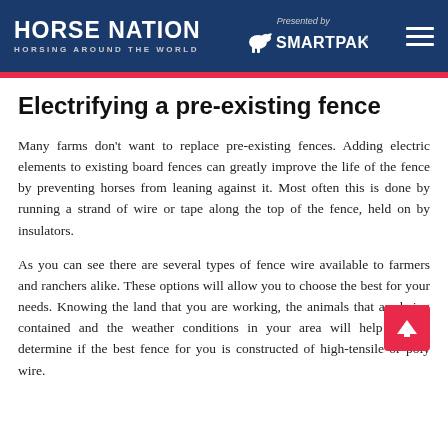HORSE NATION / HORSING AROUND THE WORLD — Presented by SMARTPAK
Electrifying a pre-existing fence
Many farms don't want to replace pre-existing fences. Adding electric elements to existing board fences can greatly improve the life of the fence by preventing horses from leaning against it. Most often this is done by running a strand of wire or tape along the top of the fence, held on by insulators.
As you can see there are several types of fence wire available to farmers and ranchers alike. These options will allow you to choose the best for your needs. Knowing the land that you are working, the animals that are being contained and the weather conditions in your area will help you to determine if the best fence for you is constructed of high-tensile or poly wire.